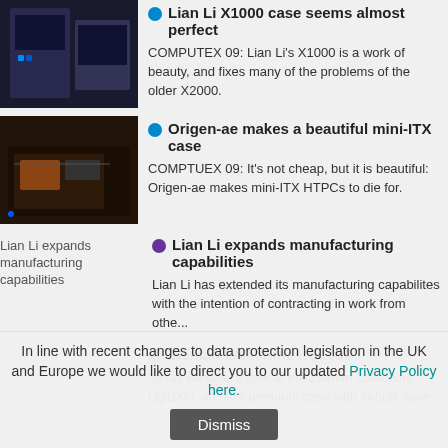[Figure (photo): Dark PC tower case photo - Lian Li X1000]
Lian Li X1000 case seems almost perfect
COMPUTEX 09: Lian Li's X1000 is a work of beauty, and fixes many of the problems of the older X2000.
[Figure (photo): Mini-ITX case interior photo - Origen-ae]
Origen-ae makes a beautiful mini-ITX case
COMPTUEX 09: It's not cheap, but it is beautiful: Origen-ae makes mini-ITX HTPCs to die for.
[Figure (photo): Lian Li expands manufacturing capabilities thumbnail with alt text]
Lian Li expands manufacturing capabilities
Lian Li has extended its manufacturing capabilites with the intention of contracting in work from othe...
Zalman ZMachine LQ1000
Today we take a look at the Zalman ZMachine LQ1000, an ultra premium case with in-built wate
In line with recent changes to data protection legislation in the UK and Europe we would like to direct you to our updated Privacy Policy here.
Dismiss